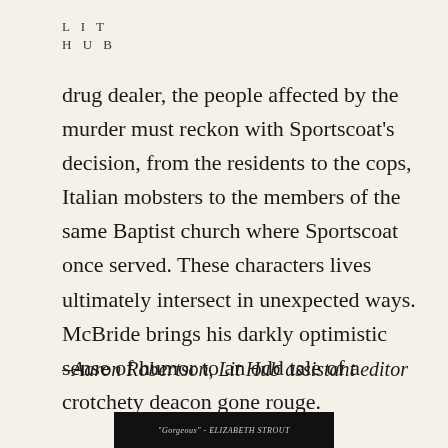LIT
HUB
drug dealer, the people affected by the murder must reckon with Sportscoat's decision, from the residents to the cops, Italian mobsters to the members of the same Baptist church where Sportscoat once served. These characters lives ultimately intersect in unexpected ways. McBride brings his darkly optimistic sense of humor to an odd tale of a crotchety deacon gone rouge.
–Aaron Robertson, Lit Hub assistant editor
[Figure (photo): Dark banner image with italic text reading "Gorgeous" - ELIZABETH STROUT]